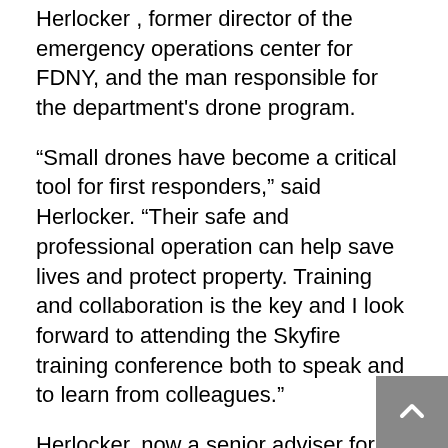Herlocker , former director of the emergency operations center for FDNY, and the man responsible for the department's drone program.
“Small drones have become a critical tool for first responders,” said Herlocker. “Their safe and professional operation can help save lives and protect property. Training and collaboration is the key and I look forward to attending the Skyfire training conference both to speak and to learn from colleagues.”
Herlocker, now a senior adviser for Hoverfly Technologies, will also sit on a panel with Rob Topping , Hoverfly’s CEO, and Mr. Sloane to discuss how tethered drones are being used successfully in places like New York City for